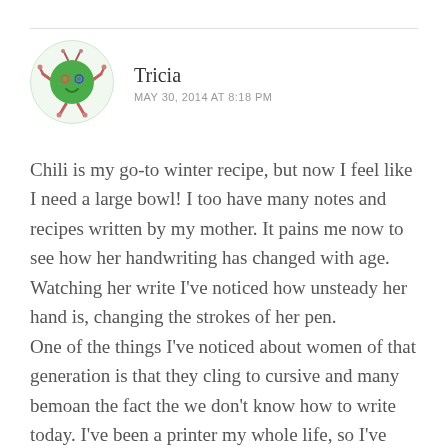[Figure (illustration): Cartoon avatar of a round green character with pink/red arms and legs, wearing colorful glasses, with a small smile, set against a light green circular background]
Tricia
MAY 30, 2014 AT 8:18 PM
Chili is my go-to winter recipe, but now I feel like I need a large bowl! I too have many notes and recipes written by my mother. It pains me now to see how her handwriting has changed with age. Watching her write I've noticed how unsteady her hand is, changing the strokes of her pen.
One of the things I've noticed about women of that generation is that they cling to cursive and many bemoan the fact the we don't know how to write today. I've been a printer my whole life, so I've always been a bit envious of my mother's hand.